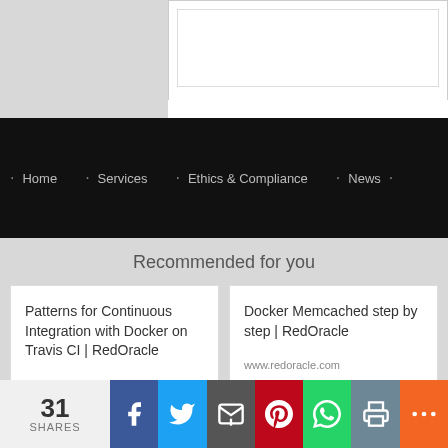Navigation: Home · Services · Ethics & Compliance · News
Recommended for you
Patterns for Continuous Integration with Docker on Travis CI | RedOracle
www.redoracle.com
Docker Memcached step by step | RedOracle
www.redoracle.com
31 SHARES